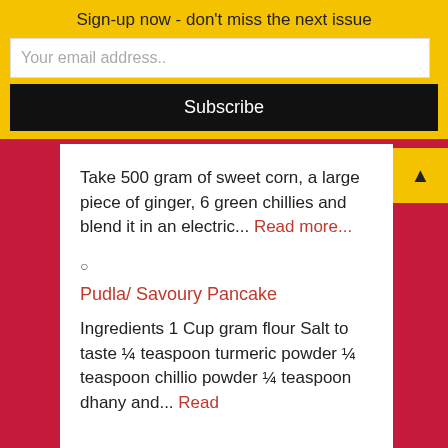Sign-up now - don't miss the next issue
Your email address..
Subscribe
Take 500 gram of sweet corn, a large piece of ginger, 6 green chillies and blend it in an electric... Read more...
○
Pudla/ Savoury Pancake
Ingredients 1 Cup gram flour Salt to taste ¼ teaspoon turmeric powder ¼ teaspoon chillio powder ¼ teaspoon dhany and... Read